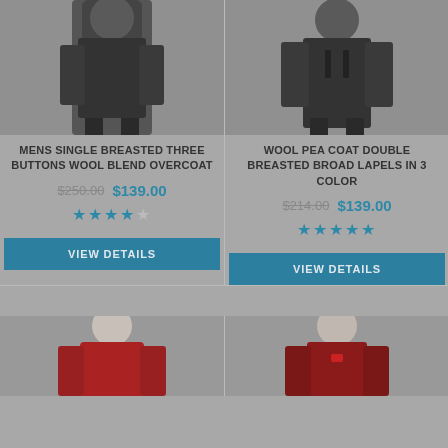[Figure (photo): Man wearing a dark single breasted wool overcoat, upper body, gray background]
MENS SINGLE BREASTED THREE BUTTONS WOOL BLEND OVERCOAT
$250.00  $139.00
★★★★★ (4 stars)
VIEW DETAILS
[Figure (photo): Man wearing a dark wool pea coat double breasted, upper body, gray background]
WOOL PEA COAT DOUBLE BREASTED BROAD LAPELS IN 3 COLOR
$214.00  $139.00
★★★★★ (5 stars)
VIEW DETAILS
[Figure (photo): Man wearing a red coat, looking sideways, cropped at bottom]
[Figure (photo): Man wearing a red patterned suit jacket with bow tie, cropped at bottom]